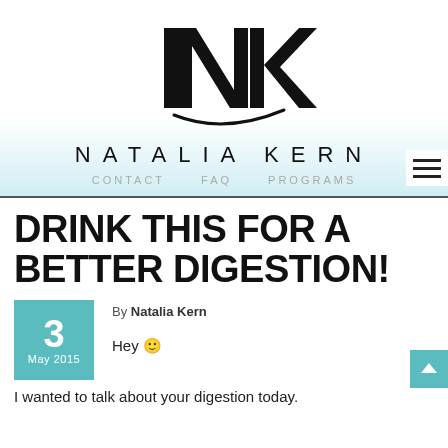[Figure (logo): NK monogram logo with decorative swash, for Natalia Kern]
NATALIA KERN
CONTACT   FAQ   PROGRAMS
DRINK THIS FOR A BETTER DIGESTION!
By Natalia Kern
3 May 2015
Hey 🙂
I wanted to talk about your digestion today.